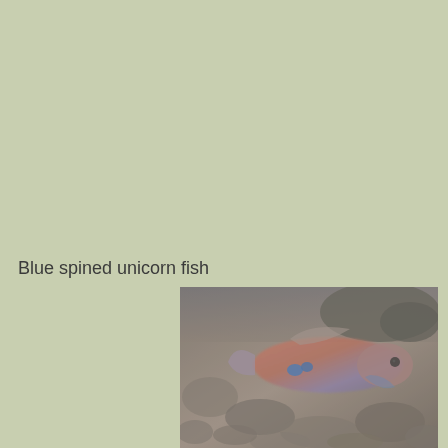Blue spined unicorn fish
[Figure (photo): Underwater photograph of a blue spined unicorn fish swimming near a rocky/coral reef substrate. The fish has a pinkish-orange body with blue spine markings visible near the front, and is photographed in murky water.]